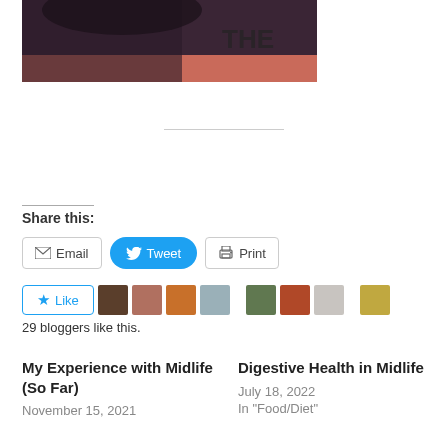[Figure (photo): Cropped photo of a person wearing a dark purple/maroon top with partial text visible, showing hair and clothing with a pink accent.]
Share this:
Email  Tweet  Print
Like  [blogger avatars]  29 bloggers like this.
My Experience with Midlife (So Far)
November 15, 2021
Digestive Health in Midlife
July 18, 2022
In "Food/Diet"